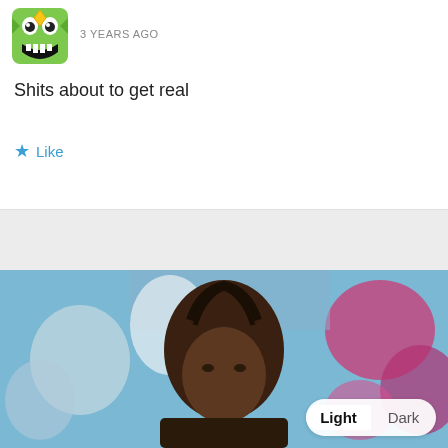[Figure (illustration): Green cartoon monster avatar icon with sharp teeth and eyes, shown in a rounded square]
3 YEARS AGO
Shits about to get real
★ Like
[Figure (photo): A woman with braided hair looking at the camera, colorful floral background with pink and blue decorations. A Light/Dark toggle button is visible in the bottom right corner.]